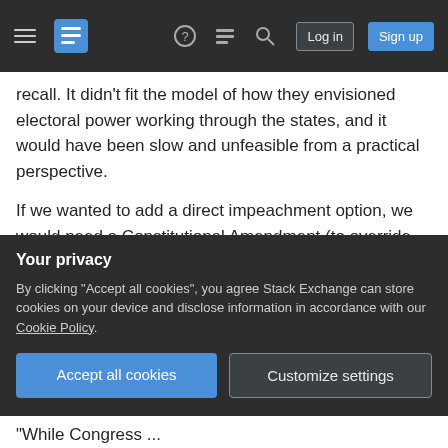Stack Exchange navigation bar with hamburger menu, logo, help, chat, search icons, Log in and Sign up buttons
recall. It didn't fit the model of how they envisioned electoral power working through the states, and it would have been slow and unfeasible from a practical perspective.
If we wanted to add a direct impeachment option, we would need a Constitutional Amendment (to override "The House of Representatives shall ... have the sole Power of Impeachment." in the Constitution), which are primarily created through Congress. Congress has little incentive to take one of their powers away and give it to someone else.
Your privacy
By clicking "Accept all cookies", you agree Stack Exchange can store cookies on your device and disclose information in accordance with our Cookie Policy.
Accept all cookies  Customize settings